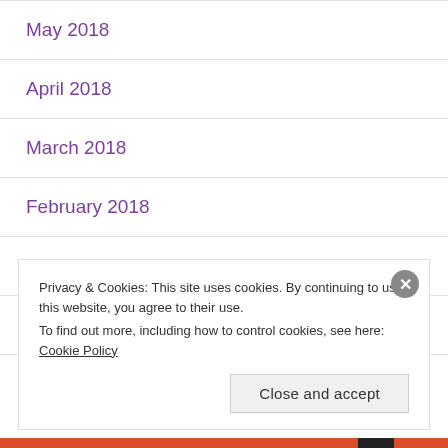May 2018
April 2018
March 2018
February 2018
January 2018
December 2017
Privacy & Cookies: This site uses cookies. By continuing to use this website, you agree to their use.
To find out more, including how to control cookies, see here: Cookie Policy
Close and accept